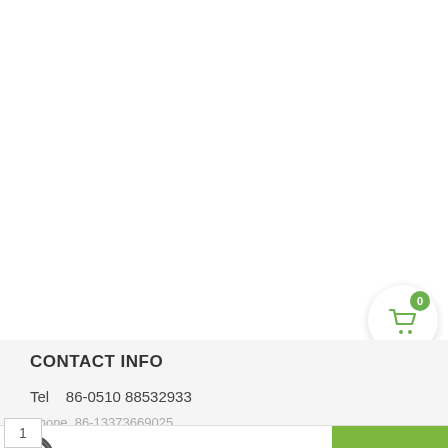[Figure (other): Shopping cart icon with badge showing 0 items, circular white button with green badge]
CONTACT INFO
Tel   86-0510 88532933
Phone  86-13373669025
…@amazon.com
Adress: Room 513-516, 5th Floor, Building C, No. Cuishan Road, Anzhen, Xishan District, Wuxi, Jiangsu Province, China
[Figure (photo): Small circular motorcycle part/ring thumbnail image]
Motorcycle ... $35.00
ADD TO CART
1